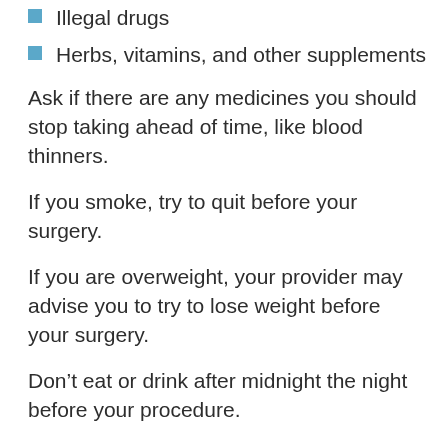Illegal drugs
Herbs, vitamins, and other supplements
Ask if there are any medicines you should stop taking ahead of time, like blood thinners.
If you smoke, try to quit before your surgery.
If you are overweight, your provider may advise you to try to lose weight before your surgery.
Don’t eat or drink after midnight the night before your procedure.
You may want to make some changes to your house, to make your recovery smoother. This includes things like adding a handrail in your shower.
In some cases, your provider might want additional